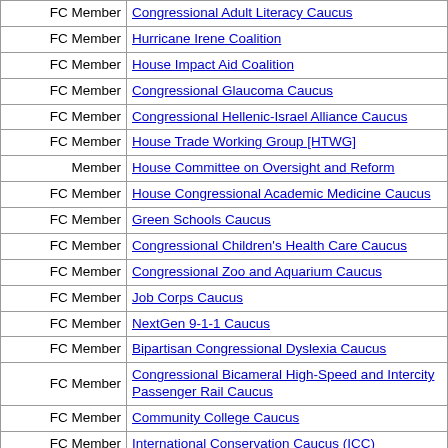| Role | Organization |
| --- | --- |
| FC Member | Congressional Adult Literacy Caucus |
| FC Member | Hurricane Irene Coalition |
| FC Member | House Impact Aid Coalition |
| FC Member | Congressional Glaucoma Caucus |
| FC Member | Congressional Hellenic-Israel Alliance Caucus |
| FC Member | House Trade Working Group [HTWG] |
| Member | House Committee on Oversight and Reform |
| FC Member | House Congressional Academic Medicine Caucus |
| FC Member | Green Schools Caucus |
| FC Member | Congressional Children's Health Care Caucus |
| FC Member | Congressional Zoo and Aquarium Caucus |
| FC Member | Job Corps Caucus |
| FC Member | NextGen 9-1-1 Caucus |
| FC Member | Bipartisan Congressional Dyslexia Caucus |
| FC Member | Congressional Bicameral High-Speed and Intercity Passenger Rail Caucus |
| FC Member | Community College Caucus |
| FC Member | International Conservation Caucus (ICC) |